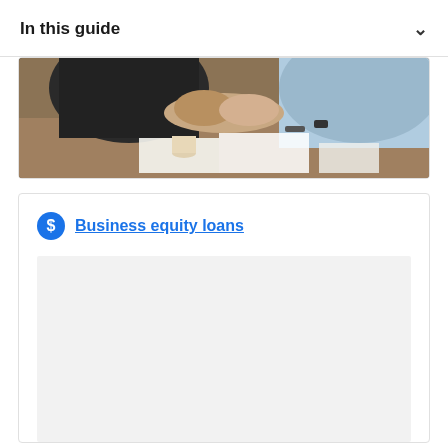In this guide
[Figure (photo): Two people shaking hands across a desk covered with documents and papers, business meeting scene]
Business equity loans